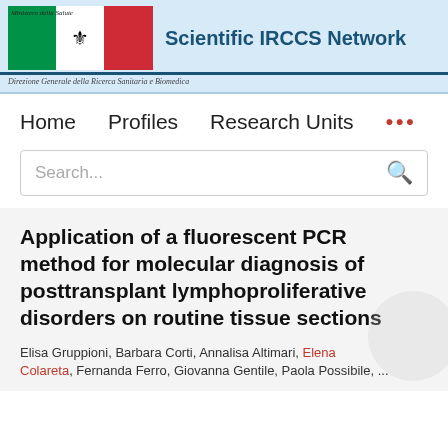[Figure (logo): Scientific IRCCS Network header with Ministero della Salute logo, Italian flag and ministry crest, plus 'Scientific IRCCS Network' text in blue, and 'Direzione Generale della Ricerca Sanitaria e Biomedica' in italic below]
Direzione Generale della Ricerca Sanitaria e Biomedica
Home    Profiles    Research Units    ...
Search...
Application of a fluorescent PCR method for molecular diagnosis of posttransplant lymphoproliferative disorders on routine tissue sections
Elisa Gruppioni, Barbara Corti, Annalisa Altimari, Elena Colareta, Fernanda Ferro, Giovanna Gentile, Paola Possidente, ...